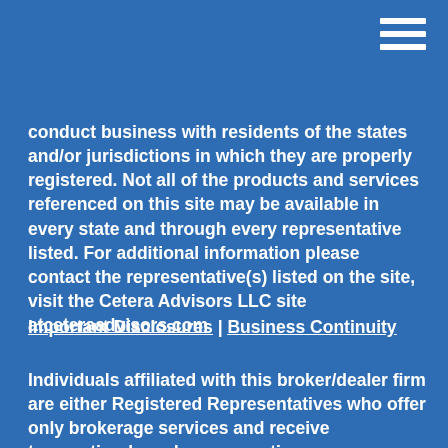conduct business with residents of the states and/or jurisdictions in which they are properly registered. Not all of the products and services referenced on this site may be available in every state and through every representative listed. For additional information please contact the representative(s) listed on the site, visit the Cetera Advisors LLC site at ceteraadvisors.com
Important Disclosures | Business Continuity
Individuals affiliated with this broker/dealer firm are either Registered Representatives who offer only brokerage services and receive transaction-based compensation (commissions), Investment Adviser Representatives who offer only investment advisory services and receive fees based on assets, or both Registered Representatives and Investment Adviser Representatives, who can offer both types of services.